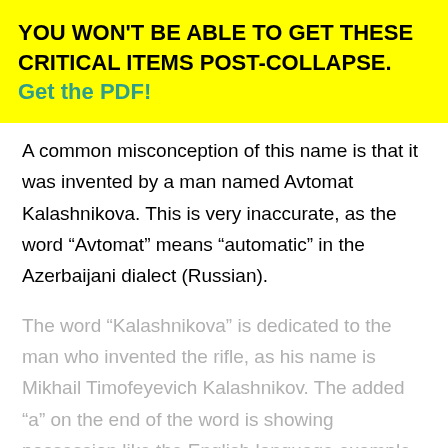YOU WON'T BE ABLE TO GET THESE CRITICAL ITEMS POST-COLLAPSE. Get the PDF!
A common misconception of this name is that it was invented by a man named Avtomat Kalashnikova. This is very inaccurate, as the word “Avtomat” means “automatic” in the Azerbaijani dialect (Russian).
The word “Kalashnikova” is dedicated to the man who invented the rifle, as his name is Mikhail Timofeyevich Kalashnikov. The added “a” on the end of the word is showing possession like the English language example of “Ben’s”.